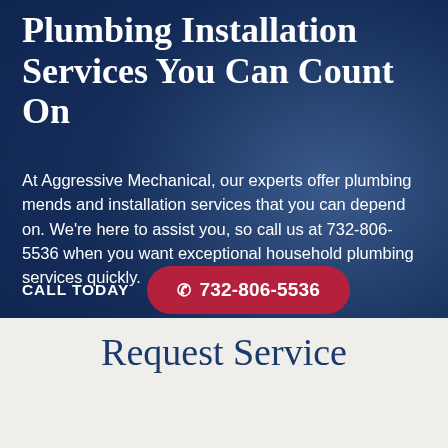Plumbing Installation Services You Can Count On
At Aggressive Mechanical, our experts offer plumbing mends and installation services that you can depend on. We're here to assist you, so call us at 732-806-5536 when you want exceptional household plumbing services quickly.
CALL TODAY  ✆ 732-806-5536
Request Service